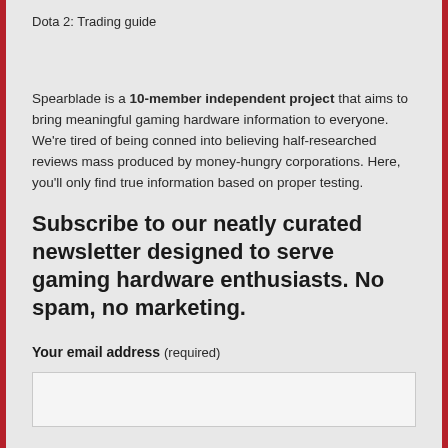Dota 2: Trading guide
Spearblade is a 10-member independent project that aims to bring meaningful gaming hardware information to everyone. We're tired of being conned into believing half-researched reviews mass produced by money-hungry corporations. Here, you'll only find true information based on proper testing.
Subscribe to our neatly curated newsletter designed to serve gaming hardware enthusiasts. No spam, no marketing.
Your email address (required)